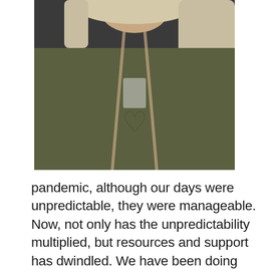[Figure (photo): A photo of a person (partial, cropped at top) wearing a dark olive/grey shirt with a heart design, with light/grey hair, with a lanyard around their neck. The background is indoors.]
pandemic, although our days were unpredictable, they were manageable. Now, not only has the unpredictability multiplied, but resources and support has dwindled. We have been doing this for a year, we are more than exhausted. We are no longer the frontline or the last line. The public needs to save themselves. We are seeing multiple family members, within a family, die from COVID-19, as though their holiday and family gatherings are more important than life. The COVID fatigue on the outside of the hospital